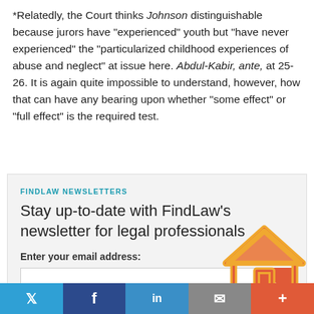*Relatedly, the Court thinks Johnson distinguishable because jurors have "experienced" youth but "have never experienced" the "particularized childhood experiences of abuse and neglect" at issue here. Abdul-Kabir, ante, at 25-26. It is again quite impossible to understand, however, how that can have any bearing upon whether "some effect" or "full effect" is the required test.
FINDLAW NEWSLETTERS
Stay up-to-date with FindLaw’s newsletter for legal professionals
Enter your email address:
[Figure (infographic): Newsletter signup form with email input field, orange submit arrow button, and decorative house/roof icon graphic in orange and yellow]
[Figure (infographic): Social sharing bar with Twitter, Facebook, LinkedIn, mail, and more buttons in respective brand colors]